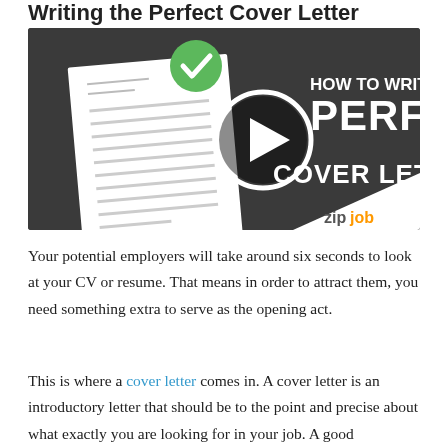Writing the Perfect Cover Letter
[Figure (screenshot): Video thumbnail for 'How to Write the Perfect Cover Letter?' with a play button in the center, a white document with a green checkmark on the left, and the zipjob logo in the lower right corner. Dark grey background.]
Your potential employers will take around six seconds to look at your CV or resume. That means in order to attract them, you need something extra to serve as the opening act.
This is where a cover letter comes in. A cover letter is an introductory letter that should be to the point and precise about what exactly you are looking for in your job. A good